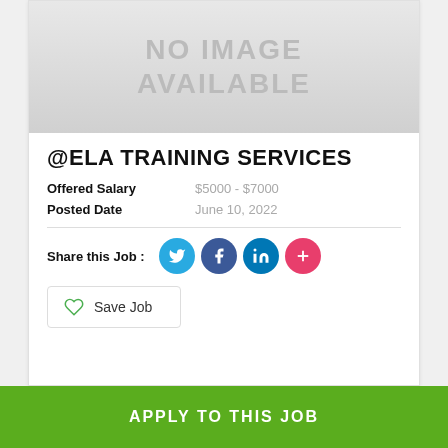[Figure (other): No image available placeholder — gray gradient rectangle with bold gray text 'NO IMAGE AVAILABLE']
@ELA TRAINING SERVICES
Offered Salary   $5000 - $7000
Posted Date   June 10, 2022
Share this Job :
Save Job
APPLY TO THIS JOB